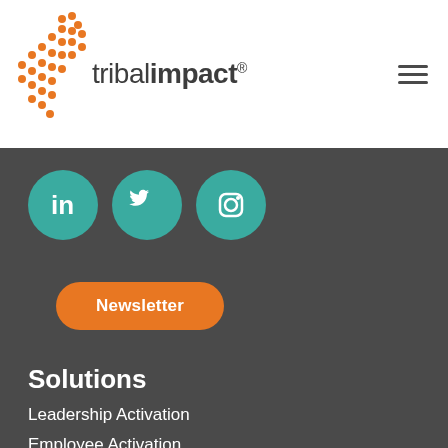[Figure (logo): Tribal Impact logo with orange dot pattern and wordmark 'tribalimpact' with registered trademark symbol]
[Figure (other): Hamburger menu icon with three horizontal lines]
[Figure (other): Three teal social media circles: LinkedIn, Twitter, Instagram icons]
[Figure (other): Orange rounded rectangle Newsletter button]
Solutions
Leadership Activation
Employee Activation